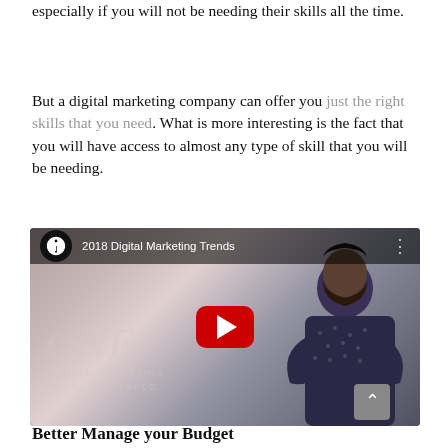especially if you will not be needing their skills all the time.
But a digital marketing company can offer you just the right skills that you need. What is more interesting is the fact that you will have access to almost any type of skill that you will be needing.
[Figure (screenshot): YouTube video embed thumbnail showing '2018 Digital Marketing Trends' with a bearded man in a dotted shirt standing with arms crossed, a red YouTube play button in the center, and text overlay reading 'ONE Digital Marketing You'll See Explored' with the video title in the top bar.]
Better Manage your Budget